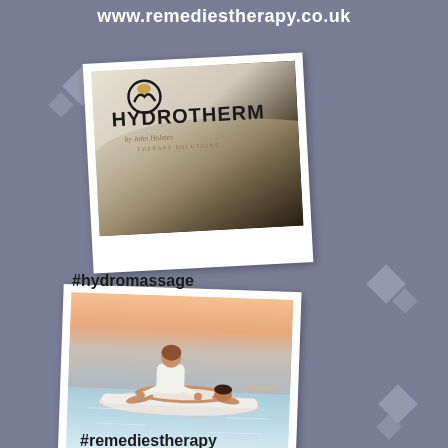www.remediestherapy.co.uk
[Figure (photo): Polaroid-style photo of Hydrotherm massage table branding with logo reading HYDROTHERM by John Holmes, in black and white/cream tones]
#hydromassage
[Figure (photo): Polaroid-style photo of a massage therapist performing massage on a client lying on a white float in a calm ocean/sea at sunset]
#remediestherapy